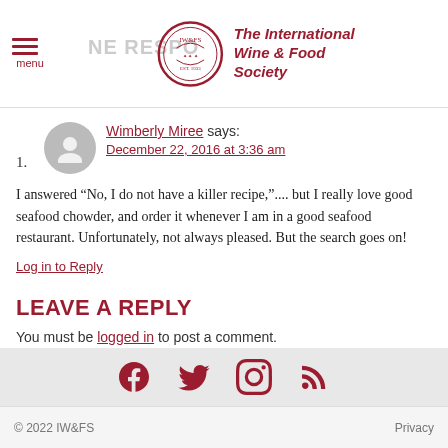The International Wine & Food Society
Wimberly Miree says:
December 22, 2016 at 3:36 am
I answered “No, I do not have a killer recipe,”.... but I really love good seafood chowder, and order it whenever I am in a good seafood restaurant. Unfortunately, not always pleased. But the search goes on!
Log in to Reply
LEAVE A REPLY
You must be logged in to post a comment.
© 2022 IW&FS  Privacy